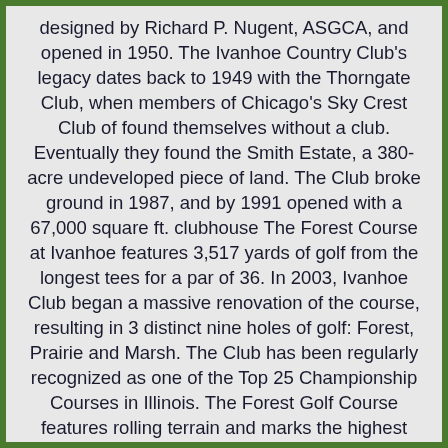designed by Richard P. Nugent, ASGCA, and opened in 1950. The Ivanhoe Country Club's legacy dates back to 1949 with the Thorngate Club, when members of Chicago's Sky Crest Club of found themselves without a club. Eventually they found the Smith Estate, a 380-acre undeveloped piece of land. The Club broke ground in 1987, and by 1991 opened with a 67,000 square ft. clubhouse The Forest Course at Ivanhoe features 3,517 yards of golf from the longest tees for a par of 36. In 2003, Ivanhoe Club began a massive renovation of the course, resulting in 3 distinct nine holes of golf: Forest, Prairie and Marsh. The Club has been regularly recognized as one of the Top 25 Championship Courses in Illinois. The Forest Golf Course features rolling terrain and marks the highest topographic oak- and hickory-lined fairways. Its two landmark 80-foot high windmills can be seen for miles around. The Prairie Nine, with its grassy hillocks and native Prairie grass, offers golfers a traditional links style challenge. The Marsh 9-hole golf